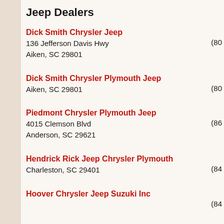Jeep Dealers
Dick Smith Chrysler Jeep
136 Jefferson Davis Hwy
Aiken, SC 29801
(80...
Dick Smith Chrysler Plymouth Jeep
Aiken, SC 29801
(80...
Piedmont Chrysler Plymouth Jeep
4015 Clemson Blvd
Anderson, SC 29621
(86...
Hendrick Rick Jeep Chrysler Plymouth
Charleston, SC 29401
(84...
Hoover Chrysler Jeep Suzuki Inc
(84...